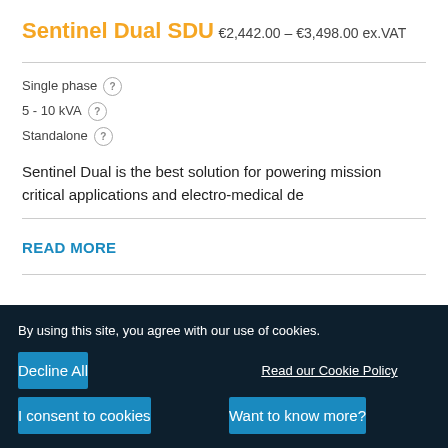Sentinel Dual SDU
€2,442.00 – €3,498.00 ex.VAT
Single phase
5 - 10 kVA
Standalone
Sentinel Dual is the best solution for powering mission critical applications and electro-medical de
READ MORE
By using this site, you agree with our use of cookies.
Decline All
Read our Cookie Policy
I consent to cookies
Want to know more?